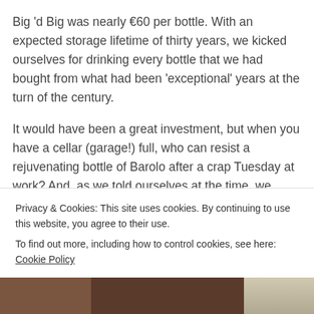Big 'd Big was nearly €60 per bottle. With an expected storage lifetime of thirty years, we kicked ourselves for drinking every bottle that we had bought from what had been 'exceptional' years at the turn of the century.
It would have been a great investment, but when you have a cellar (garage!) full, who can resist a rejuvenating bottle of Barolo after a crap Tuesday at work? And, as we told ourselves at the time, we didn't want it all to go off because it was not cellared at the correct temperature...
Privacy & Cookies: This site uses cookies. By continuing to use this website, you agree to their use.
To find out more, including how to control cookies, see here: Cookie Policy
Close and accept
[Figure (photo): Partial photo strip at the bottom of the page showing what appears to be a wine cellar or bottles]